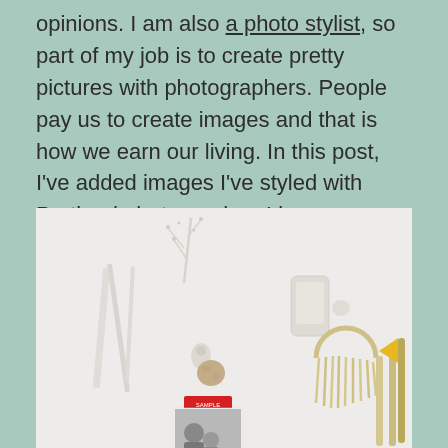opinions. I am also a photo stylist, so part of my job is to create pretty pictures with photographers. People pay us to create images and that is how we earn our living. In this post, I've added images I've styled with Portland photographer, Lisa Warninger.
[Figure (photo): Flat-lay styled photo on a light grey/white background featuring white and cream objects: dried botanical branch, white ribbons, a small sculptural face piece, a natural sponge, a red label sticker, a black-and-white photo of a mother and baby, a phone/card holder, macrame or fringe piece, wooden sticks, and a yellow flag pennant on a stick.]